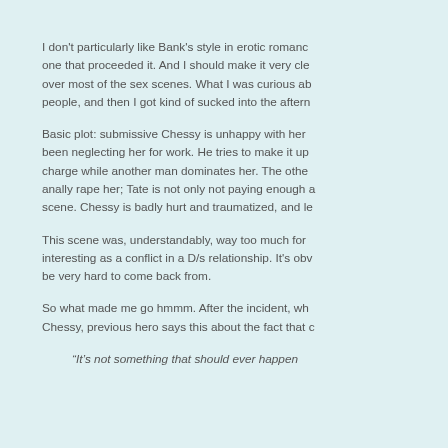I don't particularly like Bank's style in erotic romance, especially this one that proceeded it. And I should make it very clear that I skimmed over most of the sex scenes. What I was curious about was the dynamic people, and then I got kind of sucked into the afterm
Basic plot: submissive Chessy is unhappy with her dominant who has been neglecting her for work. He tries to make it up to her by staying in charge while another man dominates her. The other man goes too far and anally rape her; Tate is not only not paying enough attention to stop the scene. Chessy is badly hurt and traumatized, and le
This scene was, understandably, way too much for me but it was interesting as a conflict in a D/s relationship. It's obv... [and] would be very hard to come back from.
So what made me go hmmm. After the incident, whe... Chessy, previous hero says this about the fact that c
“It’s not something that should ever happen...